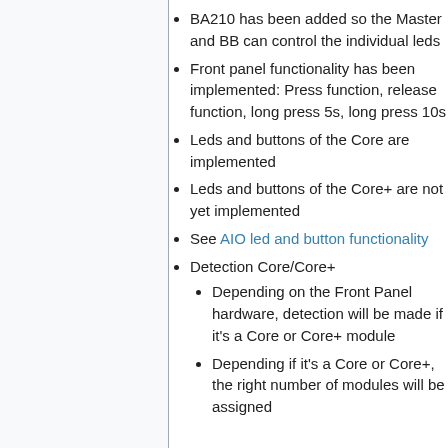BA210 has been added so the Master and BB can control the individual leds
Front panel functionality has been implemented: Press function, release function, long press 5s, long press 10s
Leds and buttons of the Core are implemented
Leds and buttons of the Core+ are not yet implemented
See AIO led and button functionality
Detection Core/Core+
Depending on the Front Panel hardware, detection will be made if it's a Core or Core+ module
Depending if it's a Core or Core+, the right number of modules will be assigned